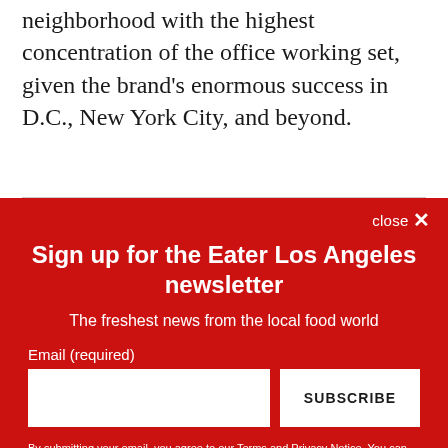neighborhood with the highest concentration of the office working set, given the brand's enormous success in D.C., New York City, and beyond.
Sign up for the Eater Los Angeles newsletter
The freshest news from the local food world
Email (required)
SUBSCRIBE
By submitting your email, you agree to our Terms and Privacy Notice. You can opt out at any time. This site is protected by reCAPTCHA and the Google Privacy Policy and Terms of Service apply.